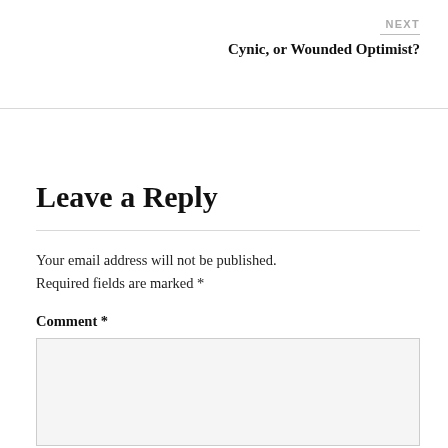NEXT
Cynic, or Wounded Optimist?
Leave a Reply
Your email address will not be published. Required fields are marked *
Comment *